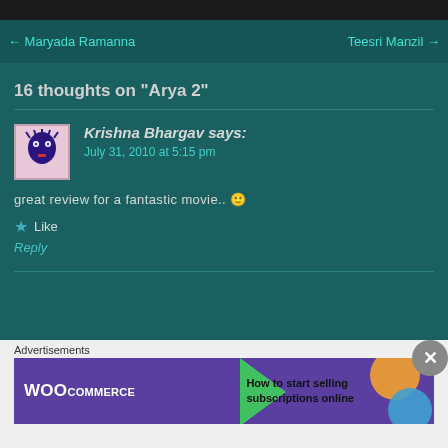← Maryada Ramanna    Teesri Manzil →
16 thoughts on "Arya 2"
Krishna Bhargav says:
July 31, 2010 at 5:15 pm
great review for a fantastic movie.. 🙂
★ Like
Reply
Advertisements
[Figure (screenshot): WooCommerce advertisement banner: purple background with WooCommerce logo, green arrow, text 'How to start selling subscriptions online', orange and blue decorative circles]